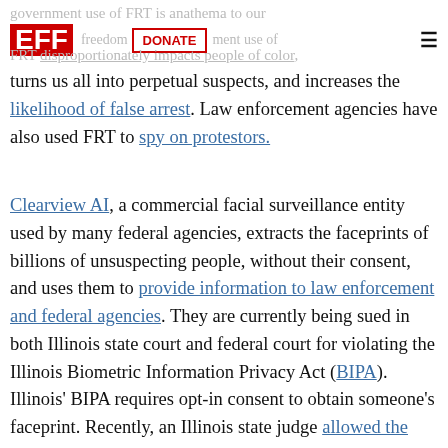EFF [logo] | DONATE | government use of FRT is anathema to our freedoms. Law enforcement use of FRT disproportionately impacts people of color, [menu]
turns us all into perpetual suspects, and increases the likelihood of false arrest. Law enforcement agencies have also used FRT to spy on protestors.
Clearview AI, a commercial facial surveillance entity used by many federal agencies, extracts the faceprints of billions of unsuspecting people, without their consent, and uses them to provide information to law enforcement and federal agencies. They are currently being sued in both Illinois state court and federal court for violating the Illinois Biometric Information Privacy Act (BIPA). Illinois' BIPA requires opt-in consent to obtain someone's faceprint. Recently, an Illinois state judge allowed the state case to proceed,